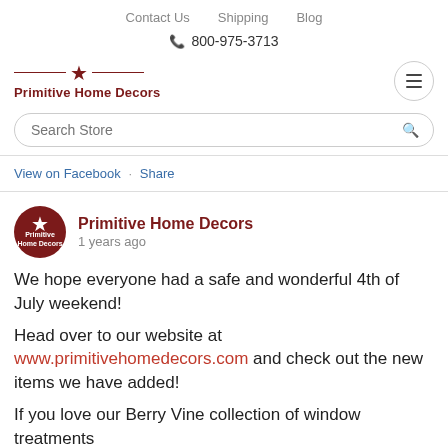Contact Us   Shipping   Blog
📞 800-975-3713
[Figure (logo): Primitive Home Decors logo with star and horizontal lines]
Search Store
View on Facebook · Share
Primitive Home Decors
1 years ago
We hope everyone had a safe and wonderful 4th of July weekend!
Head over to our website at www.primitivehomedecors.com and check out the new items we have added!
If you love our Berry Vine collection of window treatments